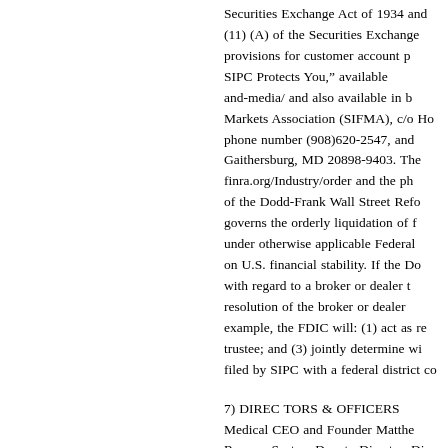Securities Exchange Act of 1934 and (11) (A) of the Securities Exchange provisions for customer account p SIPC Protects You,&rdquo; available and-media/ and also available in b Markets Association (SIFMA), c/o Ho phone number (908)620-2547, and Gaithersburg, MD 20898-9403. The finra.org/Industry/order and the ph of the Dodd-Frank Wall Street Refo governs the orderly liquidation of f under otherwise applicable Federal on U.S. financial stability. If the Do with regard to a broker or dealer t resolution of the broker or dealer example, the FDIC will: (1) act as r trustee; and (3) jointly determine wi filed by SIPC with a federal district co
7) DIREC TORS &amp; OFFICERS Medical CEO and Founder Matthe Reserve System Deputy Director, Di Systems William S. Jasien Stoneh COMMITTEE COMPOSITION Audit